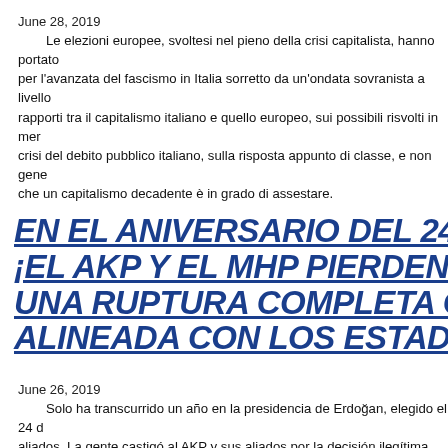June 28, 2019
Le elezioni europee, svoltesi nel pieno della crisi capitalista, hanno portato per l'avanzata del fascismo in Italia sorretto da un'ondata sovranista a livello rapporti tra il capitalismo italiano e quello europeo, sui possibili risvolti in mer crisi del debito pubblico italiano, sulla risposta appunto di classe, e non gene che un capitalismo decadente è in grado di assestare.
EN EL ANIVERSARIO DEL 24 DE JUN ¡EL AKP Y EL MHP PIERDEN! ¡SIN EL UNA RUPTURA COMPLETA CON EL ALINEADA CON LOS ESTADOS UNI
June 26, 2019
Solo ha transcurrido un año en la presidencia de Erdoğan, elegido el 24 d aliados. La gente castigó al AKP y sus aliados por la decisión ilegítima del C esta elección que se repite bajo las condiciones prevalecientes de una de la